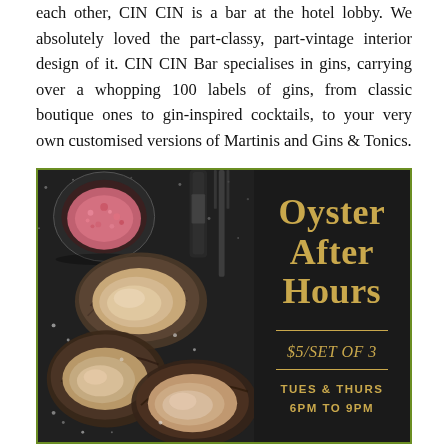each other, CIN CIN is a bar at the hotel lobby. We absolutely loved the part-classy, part-vintage interior design of it. CIN CIN Bar specialises in gins, carrying over a whopping 100 labels of gins, from classic boutique ones to gin-inspired cocktails, to your very own customised versions of Martinis and Gins & Tonics.
[Figure (photo): Promotional image for CIN CIN Bar's Oyster After Hours event. Left side shows a dark moody food photo of open oysters on a dark surface with salt crystals and a small bowl of pink condiment. Right side has dark background with gold text: 'Oyster After Hours', '$5/SET OF 3', 'TUES & THURS 6PM TO 9PM'. Image has an olive green border.]